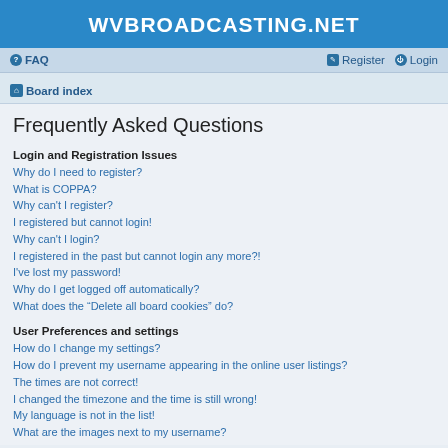WVBROADCASTING.NET
FAQ  Register  Login
Board index
Frequently Asked Questions
Login and Registration Issues
Why do I need to register?
What is COPPA?
Why can't I register?
I registered but cannot login!
Why can't I login?
I registered in the past but cannot login any more?!
I've lost my password!
Why do I get logged off automatically?
What does the “Delete all board cookies” do?
User Preferences and settings
How do I change my settings?
How do I prevent my username appearing in the online user listings?
The times are not correct!
I changed the timezone and the time is still wrong!
My language is not in the list!
What are the images next to my username?